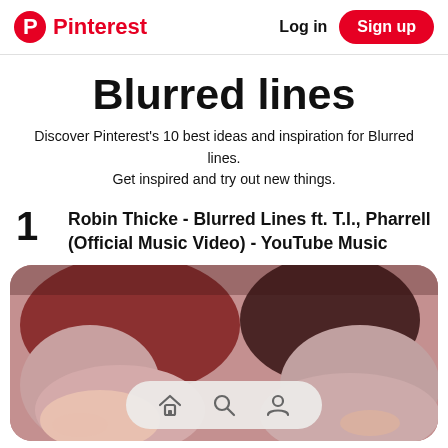Pinterest — Log in | Sign up
Blurred lines
Discover Pinterest's 10 best ideas and inspiration for Blurred lines. Get inspired and try out new things.
1 Robin Thicke - Blurred Lines ft. T.I., Pharrell (Official Music Video) - YouTube Music
[Figure (photo): Close-up photo of two faces (a woman with reddish-brown hair and a man) used as a Pinterest pin thumbnail. A bottom navigation bar with home, search, and profile icons overlays the image.]